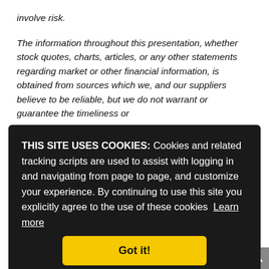involve risk.
The information throughout this presentation, whether stock quotes, charts, articles, or any other statements regarding market or other financial information, is obtained from sources which we, and our suppliers believe to be reliable, but we do not warrant or guarantee the timeliness or
THIS SITE USES COOKIES: Cookies and related tracking scripts are used to assist with logging in and navigating from page to page, and customize your experience. By continuing to use this site you explicitly agree to the use of these cookies  Learn more
Got it!
account your particular investment objectives,